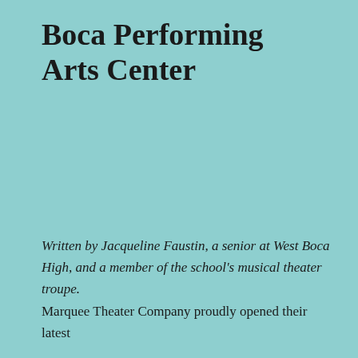Boca Performing Arts Center
Written by Jacqueline Faustin, a senior at West Boca High, and a member of the school's musical theater troupe. Marquee Theater Company proudly opened their latest